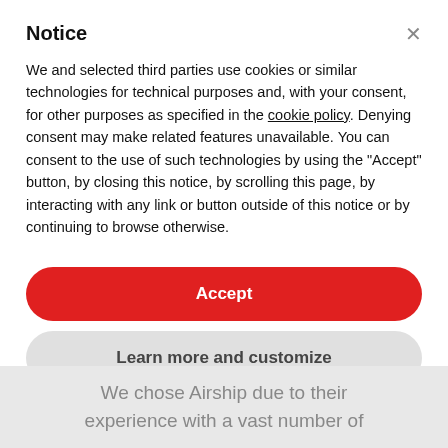Notice
We and selected third parties use cookies or similar technologies for technical purposes and, with your consent, for other purposes as specified in the cookie policy. Denying consent may make related features unavailable. You can consent to the use of such technologies by using the "Accept" button, by closing this notice, by scrolling this page, by interacting with any link or button outside of this notice or by continuing to browse otherwise.
Accept
Learn more and customize
We chose Airship due to their experience with a vast number of